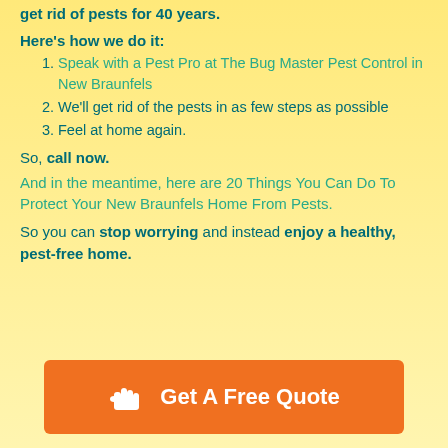get rid of pests for 40 years.
Here's how we do it:
Speak with a Pest Pro at The Bug Master Pest Control in New Braunfels
We'll get rid of the pests in as few steps as possible
Feel at home again.
So, call now.
And in the meantime, here are 20 Things You Can Do To Protect Your New Braunfels Home From Pests.
So you can stop worrying and instead enjoy a healthy, pest-free home.
[Figure (other): Orange call-to-action button with hand/quote icon and text 'Get A Free Quote']